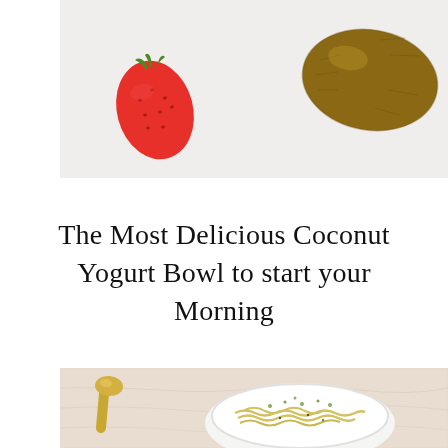[Figure (photo): Top-down photo on white background showing a red strawberry on the left and a whole kiwi fruit on the right]
The Most Delicious Coconut Yogurt Bowl to start your Morning
[Figure (photo): Top-down photo showing a white bowl with noodles/pasta garnished with herbs and a gold spoon on a linen background]